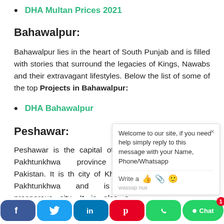DHA Multan Prices 2021
Bahawalpur:
Bahawalpur lies in the heart of South Punjab and is filled with stories that surround the legacies of Kings, Nawabs and their extravagant lifestyles. Below the list of some of the top Projects in Bahawalpur:
DHA Bahawalpur
Peshawar:
Peshawar is the capital of the Pakhtunkhwa province of Pakistan. It is th city of Khyber Pakhtunkhwa and is a prosperous city. It is also a cultural and hub of Khyber Pakhtunkhwa. The city is famous for its
[Figure (screenshot): Chat popup widget with message: Welcome to our site, if you need help simply reply to this message with your Name, Phone/Whatsapp]
Social share bar: Facebook, Twitter, LinkedIn, Pinterest, WhatsApp, Chat